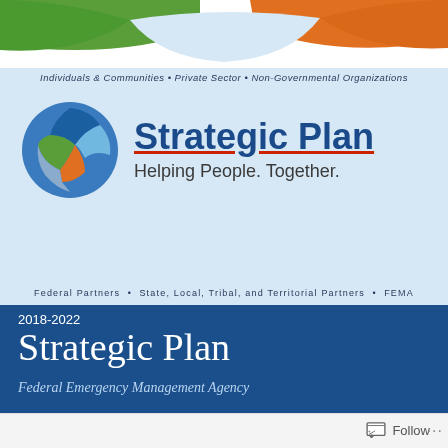[Figure (illustration): Cover page graphic with colored puzzle piece globe logo, decorative top banner with green and orange curved shapes, light blue background, arc text with stakeholder groups, and FEMA Strategic Plan branding]
Individuals & Communities • Private Sector • Non-Governmental Organizations
Strategic Plan
Helping People. Together.
Federal Partners • State, Local, Tribal, and Territorial Partners • FEMA
2018-2022
Strategic Plan
Federal Emergency Management Agency